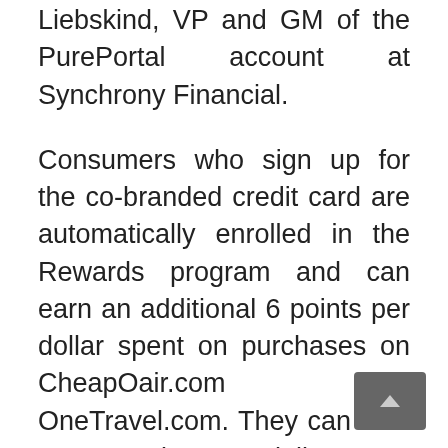Liebskind, VP and GM of the PurePortal account at Synchrony Financial.
Consumers who sign up for the co-branded credit card are automatically enrolled in the Rewards program and can earn an additional 6 points per dollar spent on purchases on CheapOair.com and OneTravel.com. They can also earn 4 points per dollar spent on dining purchases and 2 points per dollar spent on other purchases wherever Visa credit cards are accepted. There is also a six month special financing option available on purchases of $399 or more (after discounts) on CheapOair or OneTravel.
There is no annual fee for the cards and new